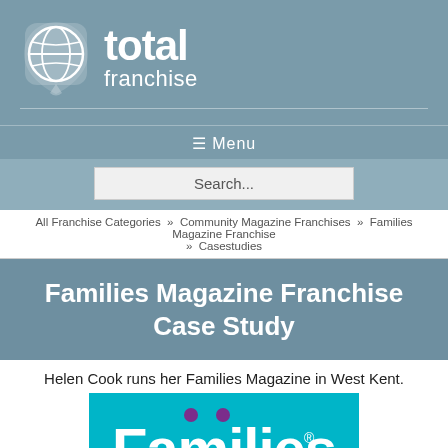[Figure (logo): Total Franchise logo: globe icon with a location pin shape and the words 'total franchise' in white on a steel blue background]
☰ Menu
Search...
All Franchise Categories » Community Magazine Franchises » Families Magazine Franchise » Casestudies
Families Magazine Franchise Case Study
Helen Cook runs her Families Magazine in West Kent.
[Figure (logo): Families Magazine logo: teal/cyan background with large white bold text 'Families' with two purple dots above the 'i' letters forming eyes and a purple smile curve, and white text 'Magazine' below with registered trademark symbol]